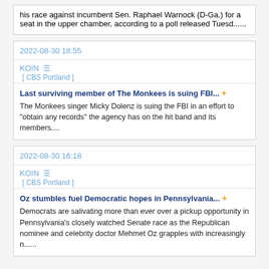his race against incumbent Sen. Raphael Warnock (D-Ga.) for a seat in the upper chamber, according to a poll released Tuesd......
2022-08-30 18:55
KOIN  [ CBS Portland ]
Last surviving member of The Monkees is suing FBI... + The Monkees singer Micky Dolenz is suing the FBI in an effort to "obtain any records" the agency has on the hit band and its members....
2022-08-30 16:18
KOIN  [ CBS Portland ]
Oz stumbles fuel Democratic hopes in Pennsylvania... + Democrats are salivating more than ever over a pickup opportunity in Pennsylvania's closely watched Senate race as the Republican nominee and celebrity doctor Mehmet Oz grapples with increasingly n......